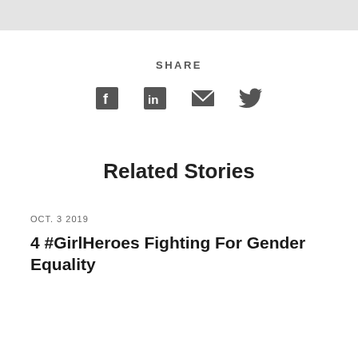SHARE
[Figure (infographic): Social share icons: Facebook, LinkedIn, Email, Twitter]
Related Stories
OCT. 3 2019
4 #GirlHeroes Fighting For Gender Equality